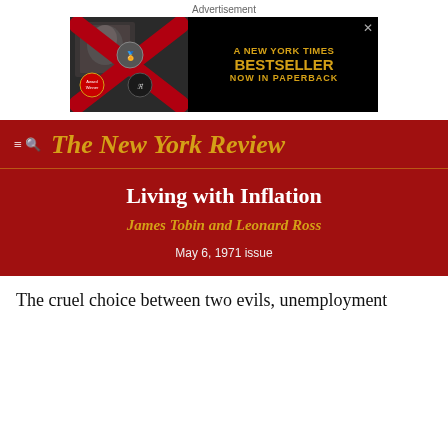Advertisement
[Figure (photo): Advertisement banner for a New York Times Bestseller now in Paperback, black background with a photo collage on the left and gold text on the right.]
The New York Review
Living with Inflation
James Tobin and Leonard Ross
May 6, 1971 issue
The cruel choice between two evils, unemployment